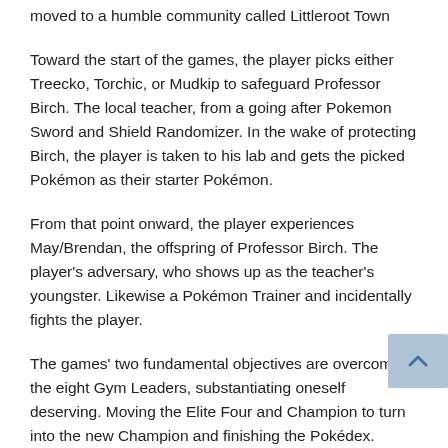moved to a humble community called Littleroot Town
Toward the start of the games, the player picks either Treecko, Torchic, or Mudkip to safeguard Professor Birch. The local teacher, from a going after Pokemon Sword and Shield Randomizer. In the wake of protecting Birch, the player is taken to his lab and gets the picked Pokémon as their starter Pokémon.
From that point onward, the player experiences May/Brendan, the offspring of Professor Birch. The player's adversary, who shows up as the teacher's youngster. Likewise a Pokémon Trainer and incidentally fights the player.
The games' two fundamental objectives are overcoming the eight Gym Leaders, substantiating oneself deserving. Moving the Elite Four and Champion to turn into the new Champion and finishing the Pokédex.